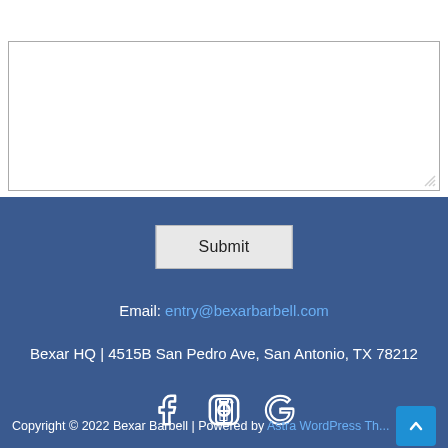[textarea input field]
Submit
Email: entry@bexarbarbell.com
Bexar HQ | 4515B San Pedro Ave, San Antonio, TX 78212
[Figure (other): Social media icons: Facebook, Instagram, Google]
Copyright © 2022 Bexar Barbell | Powered by Astra WordPress Theme